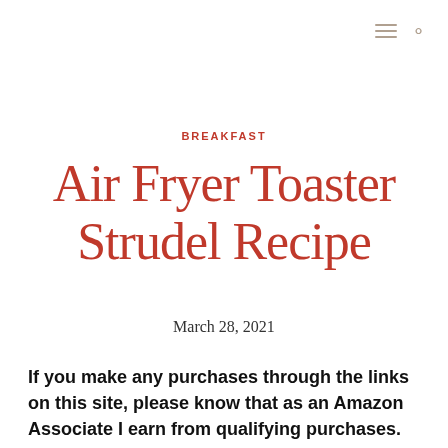≡ 🔍
BREAKFAST
Air Fryer Toaster Strudel Recipe
March 28, 2021
If you make any purchases through the links on this site, please know that as an Amazon Associate I earn from qualifying purchases. This